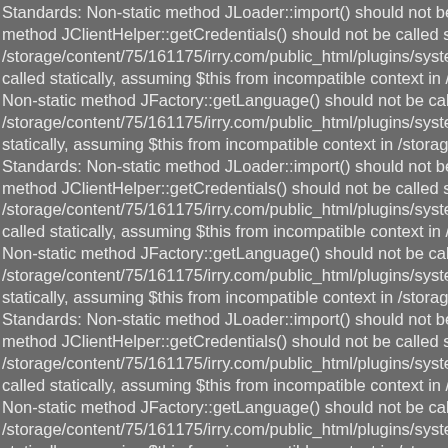Standards: Non-static method JLoader::import() should not be called statically in /st method JClientHelper::getCredentials() should not be called statically, assuming $th /storage/content/75/161175/irry.com/public_html/plugins/system/jfdatabase/intercep called statically, assuming $this from incompatible context in /storage/content/75/16 Non-static method JFactory::getLanguage() should not be called statically, assumin /storage/content/75/161175/irry.com/public_html/plugins/system/jfdatabase/jfdataba statically, assuming $this from incompatible context in /storage/content/75/161175/ir Standards: Non-static method JLoader::import() should not be called statically in /st method JClientHelper::getCredentials() should not be called statically, assuming $th /storage/content/75/161175/irry.com/public_html/plugins/system/jfdatabase/intercep called statically, assuming $this from incompatible context in /storage/content/75/16 Non-static method JFactory::getLanguage() should not be called statically, assumin /storage/content/75/161175/irry.com/public_html/plugins/system/jfdatabase/jfdataba statically, assuming $this from incompatible context in /storage/content/75/161175/ir Standards: Non-static method JLoader::import() should not be called statically in /st method JClientHelper::getCredentials() should not be called statically, assuming $th /storage/content/75/161175/irry.com/public_html/plugins/system/jfdatabase/intercep called statically, assuming $this from incompatible context in /storage/content/75/16 Non-static method JFactory::getLanguage() should not be called statically, assumin /storage/content/75/161175/irry.com/public_html/plugins/system/jfdatabase/jfdataba statically, assuming $this from incompatible context in /storage/content/75/161175/ir Standards: Non-static method JLoader::import() should not be called statically in /st method JClientHelper::getCredentials() should not be called statically, assuming $th /storage/content/75/161175/irry.com/public_html/plugins/system/jfdatabase/intercep called statically, assuming $this from incompatible context in /storage/content/75/16 Non-static method JFactory::getLanguage() should not be called statically, assumin /storage/content/75/161175/irry.com/public_html/plugins/system/jfdata...